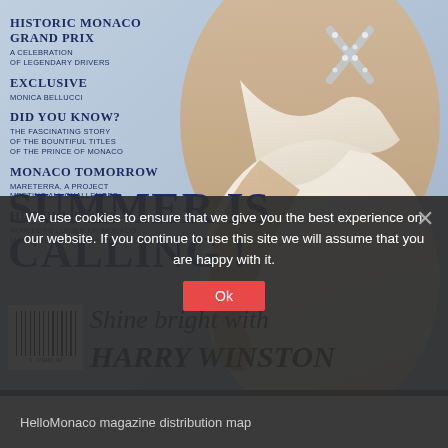[Figure (photo): Magazine cover of HelloMonaco featuring a woman in a white dress with a diamond cross necklace. Light blue/grey background.]
HISTORIC MONACO GRAND PRIX
A CELEBRATION OF LEGENDARY DRIVERS
EXCLUSIVE
MONICA BELLUCCI
DID YOU KNOW?
THE FASCINATING STORY OF THE BOUNTIFUL TITLES OF THE PRINCE OF MONACO
MONACO TOMORROW
MARETERRA, A PROJECT MEETING ALL CHALLENGES
HISTORY PAGES
HOW LORD LUCIEN OF MONACO MAY HAVE INSPIRED MACHIAVELLI
SUMMER IS CALLING !
Shine bright with HARRY WINSTON
We use cookies to ensure that we give you the best experience on our website. If you continue to use this site we will assume that you are happy with it.
Ok
HelloMonaco magazine distribution map